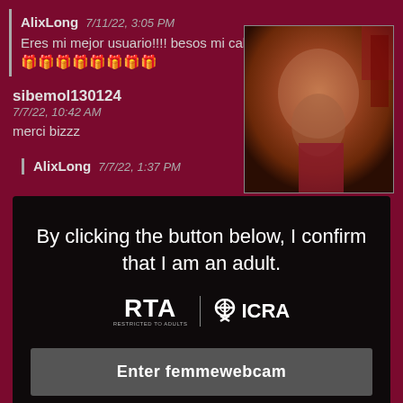AlixLong  7/11/22, 3:05 PM
Eres mi mejor usuario!!!! besos mi caballero especial !!!🎁🎁🎁🎁🎁🎁🎁🎁🎁🎁
sibemol130124
7/7/22, 10:42 AM
merci bizzz
[Figure (photo): Thumbnail image, partially obscured by overlay]
AlixLong  7/7/22, 1:37 PM
By clicking the button below, I confirm that I am an adult.
[Figure (logo): RTA and ICRA logos]
Enter femmewebcam